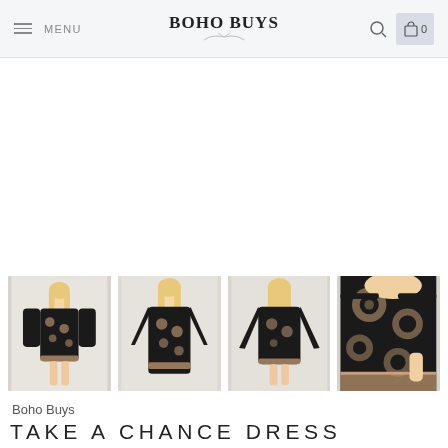BOHO BUYS — navigation bar with menu, logo, search and cart
[Figure (photo): Large main product image area (white/blank placeholder for main dress photo)]
[Figure (photo): Four thumbnail photos of a black floral off-shoulder bell-sleeve mini dress shown from different angles: front, front-close, back, and sleeve detail]
Boho Buys
TAKE A CHANCE DRESS